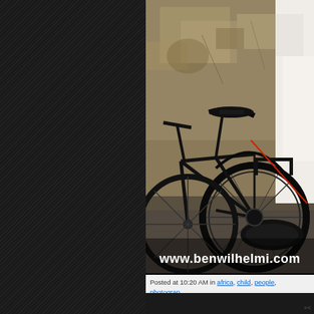[Figure (photo): Black vintage bicycle leaning against a weathered stone/plaster wall, with a person in white clothing visible in the upper right. Watermark reads www.benwilhelmi.com at the bottom.]
Posted at 10:20 AM in africa, child, people, photograph | Permalink | Comments (0) | TrackBack (0)
[Figure (other): Twitter Tweet button]